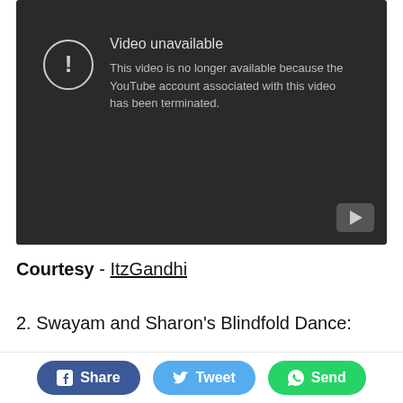[Figure (screenshot): YouTube embedded video player showing 'Video unavailable' error message. Dark background with exclamation mark icon in circle and text: 'Video unavailable. This video is no longer available because the YouTube account associated with this video has been terminated.' YouTube play button icon visible bottom right.]
Courtesy - ItzGandhi
2. Swayam and Sharon's Blindfold Dance:
[Figure (screenshot): Partially visible dark video player embed (bottom of page cut off).]